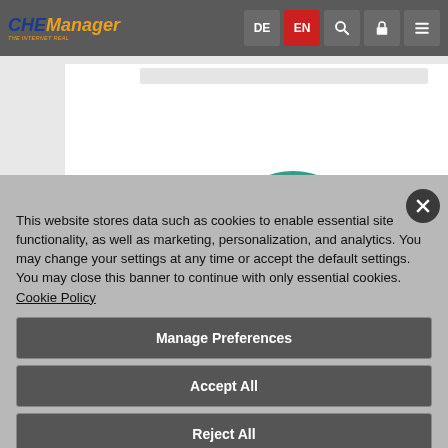[Figure (screenshot): CHEManager website navigation bar with logo and language/menu buttons (DE, EN, search, lock, hamburger menu)]
[Figure (screenshot): Partially visible website content area with white box and teal/blue shapes at bottom]
This website stores data such as cookies to enable essential site functionality, as well as marketing, personalization, and analytics. You may change your settings at any time or accept the default settings. You may close this banner to continue with only essential cookies. Cookie Policy
Manage Preferences
Accept All
Reject All